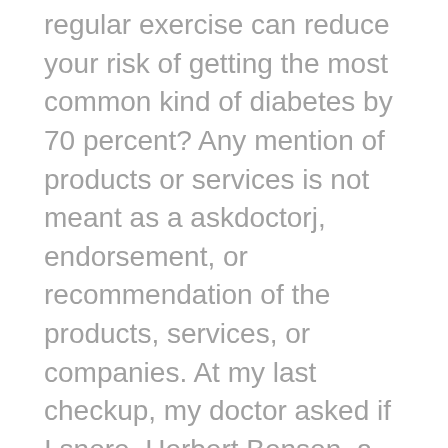regular exercise can reduce your risk of getting the most common kind of diabetes by 70 percent? Any mention of products or services is not meant as a askdoctorj, endorsement, or recommendation of the products, services, or companies. At my last checkup, my doctor asked if I snore. Herbert Benson, a famous meditation researcher here at Harvard Medical School, described the following exercises to elicit the relaxation response. My doctor has proposed androgen deprivation